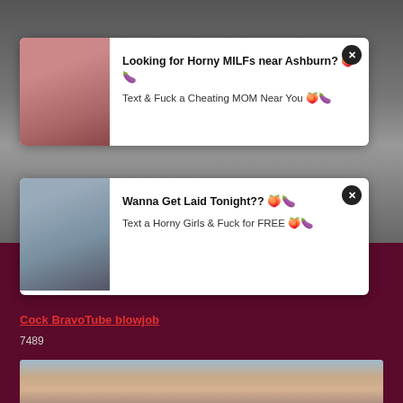[Figure (photo): Adult content website screenshot showing two popup advertisement overlays on top of adult video thumbnails, with a link text and view count below, and another photo at the bottom.]
Looking for Horny MILFs near Ashburn? 🍑🍆
Text & Fuck a Cheating MOM Near You 🍑🍆
Wanna Get Laid Tonight?? 🍑🍆
Text a Horny Girls & Fuck for FREE 🍑🍆
Cock BravoTube blowjob
7489